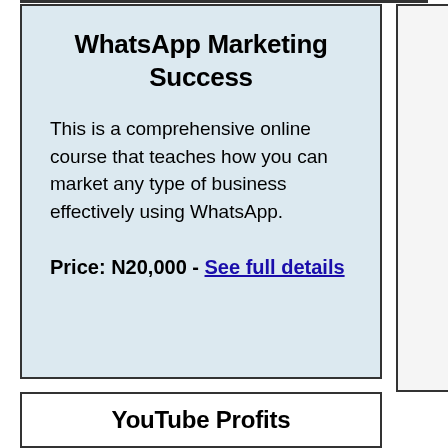WhatsApp Marketing Success
This is a comprehensive online course that teaches how you can market any type of business effectively using WhatsApp.
Price: N20,000 - See full details
YouTube Profits